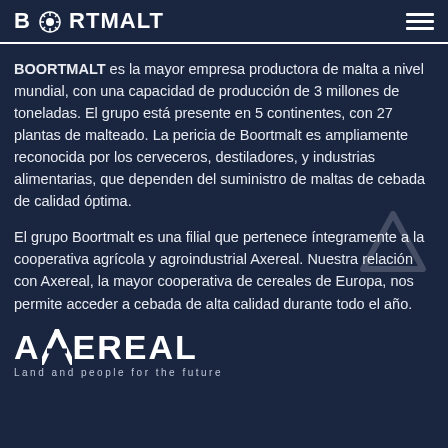BOORTMALT
BOORTMALT es la mayor empresa productora de malta a nivel mundial, con una capacidad de producción de 3 millones de toneladas. El grupo está presente en 5 continentes, con 27 plantas de malteado. La pericia de Boortmalt es ampliamente reconocida por los cerveceros, destiladores, y industrias alimentarias, que dependen del suministro de maltas de cebada de calidad óptima.
El grupo Boortmalt es una filial que pertenece íntegramente a la cooperativa agrícola y agroindustrial Axereal. Nuestra relación con Axereal, la mayor cooperativa de cereales de Europa, nos permite acceder a cebada de alta calidad durante todo el año.
[Figure (logo): AXEREAL logo with tagline 'Land and people for the future']